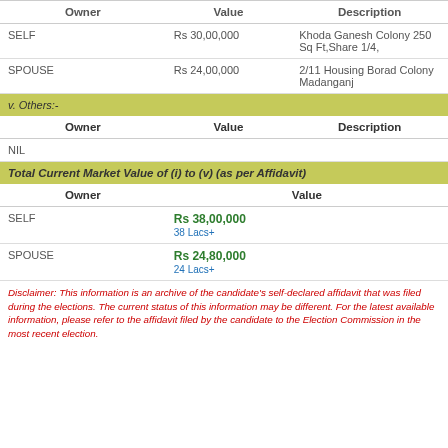| Owner | Value | Description |
| --- | --- | --- |
| SELF | Rs 30,00,000 | Khoda Ganesh Colony 250 Sq Ft,Share 1/4, |
| SPOUSE | Rs 24,00,000 | 2/11 Housing Borad Colony Madanganj |
v. Others:-
| Owner | Value | Description |
| --- | --- | --- |
| NIL |  |  |
Total Current Market Value of (i) to (v) (as per Affidavit)
| Owner | Value |
| --- | --- |
| SELF | Rs 38,00,000
38 Lacs+ |
| SPOUSE | Rs 24,80,000
24 Lacs+ |
Disclaimer: This information is an archive of the candidate's self-declared affidavit that was filed during the elections. The current status of this information may be different. For the latest available information, please refer to the affidavit filed by the candidate to the Election Commission in the most recent election.